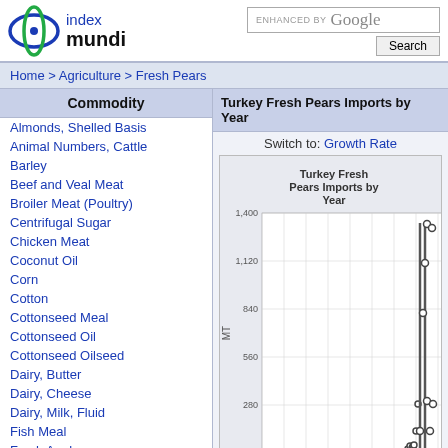[Figure (logo): Index Mundi logo with blue circle icon and text 'index mundi']
ENHANCED BY Google Search
Home > Agriculture > Fresh Pears
Commodity
Almonds, Shelled Basis
Animal Numbers, Cattle
Barley
Beef and Veal Meat
Broiler Meat (Poultry)
Centrifugal Sugar
Chicken Meat
Coconut Oil
Corn
Cotton
Cottonseed Meal
Cottonseed Oil
Cottonseed Oilseed
Dairy, Butter
Dairy, Cheese
Dairy, Milk, Fluid
Fish Meal
Fresh Apples
Fresh Cherries (Sweet & Sour)
Turkey Fresh Pears Imports by Year
Switch to: Growth Rate
[Figure (continuous-plot): Turkey Fresh Pears Imports by Year line chart with y-axis labeled MT ranging from 0 to 1,400 with gridlines at 280, 560, 840, 1120, 1400. Data points shown as circles on a nearly vertical line near the right side of the chart indicating very low values for most years and a spike near 1,400 at the end.]